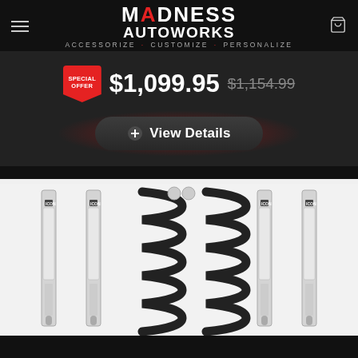MADNESS AUTOWORKS — ACCESSORIZE · CUSTOMIZE · PERSONALIZE
$1,099.95  $1,154.99  SPECIAL OFFER
View Details
[Figure (photo): Product photo of ICON suspension kit components including four shock absorbers and two coil springs arranged on white background]